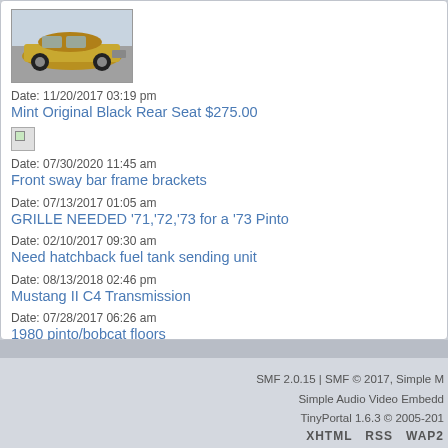[Figure (photo): Gold/yellow vintage Ford Pinto car parked in a lot, viewed from front-left angle]
Date: 11/20/2017 03:19 pm
Mint Original Black Rear Seat $275.00
[Figure (photo): Broken/missing image placeholder icon]
Date: 07/30/2020 11:45 am
Front sway bar frame brackets
Date: 07/13/2017 01:05 am
GRILLE NEEDED '71,'72,'73 for a '73 Pinto
Date: 02/10/2017 09:30 am
Need hatchback fuel tank sending unit
Date: 08/13/2018 02:46 pm
Mustang II C4 Transmission
Date: 07/28/2017 06:26 am
1980 pinto/bobcat floors
Date: 07/24/2018 08:11 pm
SMF 2.0.15 | SMF © 2017, Simple M... Simple Audio Video Embedd... TinyPortal 1.6.3 © 2005-201... XHTML RSS WAP2